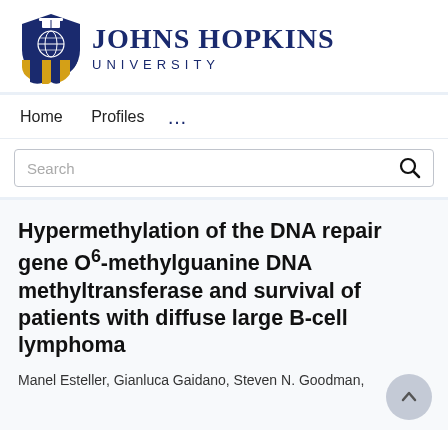[Figure (logo): Johns Hopkins University logo with shield and text]
Home   Profiles   ...
Search
Hypermethylation of the DNA repair gene O6-methylguanine DNA methyltransferase and survival of patients with diffuse large B-cell lymphoma
Manel Esteller, Gianluca Gaidano, Steven N. Goodman,